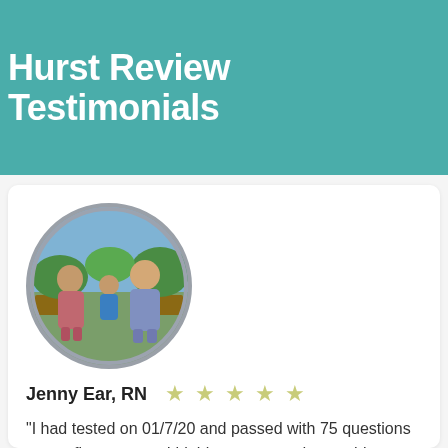Hurst Review Testimonials
[Figure (photo): Circular profile photo of a family (woman, child, and man) standing outdoors in a garden setting]
Jenny Ear, RN ★★★★★
"I had tested on 01/7/20 and passed with 75 questions on my first attempt. I highly recommend everything about the Hurst product. I